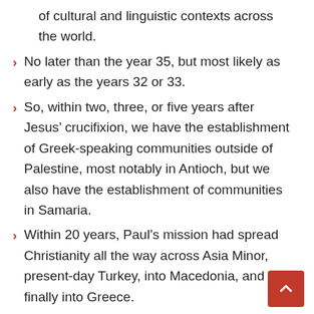of cultural and linguistic contexts across the world.
No later than the year 35, but most likely as early as the years 32 or 33.
So, within two, three, or five years after Jesus’ crucifixion, we have the establishment of Greek-speaking communities outside of Palestine, most notably in Antioch, but we also have the establishment of communities in Samaria.
Within 20 years, Paul’s mission had spread Christianity all the way across Asia Minor, present-day Turkey, into Macedonia, and finally into Greece.